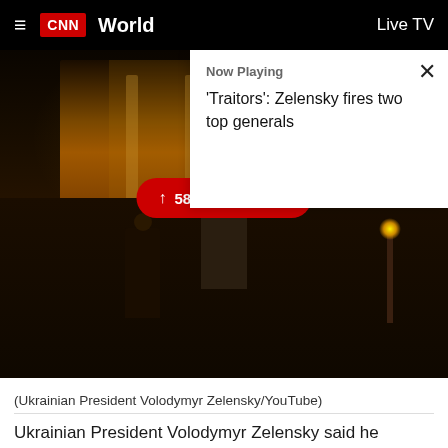CNN World  Live TV
Now Playing
'Traitors': Zelensky fires two top generals
[Figure (photo): Ukrainian President Volodymyr Zelensky standing in front of a building at night, illuminated by warm golden lights. A pill-shaped red button reads '58 New Updates' with an upward arrow.]
(Ukrainian President Volodymyr Zelensky/YouTube)
Ukrainian President Volodymyr Zelensky said he